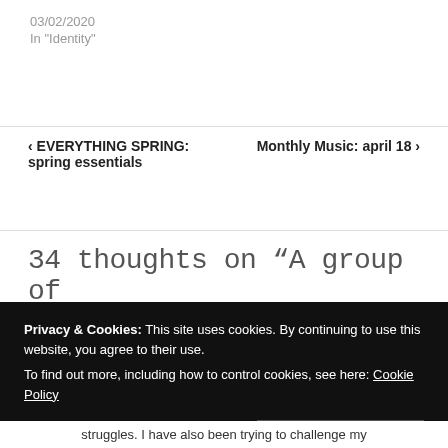03/02/2020
In "Identity"
< EVERYTHING SPRING: spring essentials
Monthly Music: april 18 >
34 thoughts on “A group of
Privacy & Cookies: This site uses cookies. By continuing to use this website, you agree to their use.
To find out more, including how to control cookies, see here: Cookie Policy
Close and accept
struggles. I have also been trying to challenge my